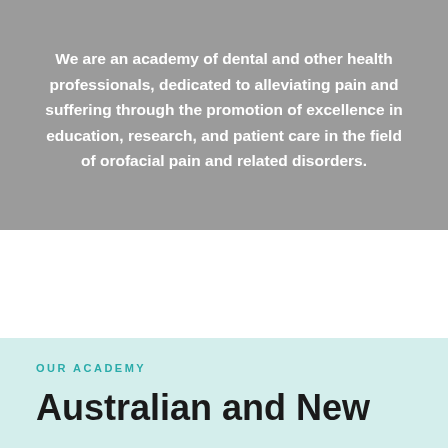We are an academy of dental and other health professionals, dedicated to alleviating pain and suffering through the promotion of excellence in education, research, and patient care in the field of orofacial pain and related disorders.
OUR ACADEMY
Australian and New